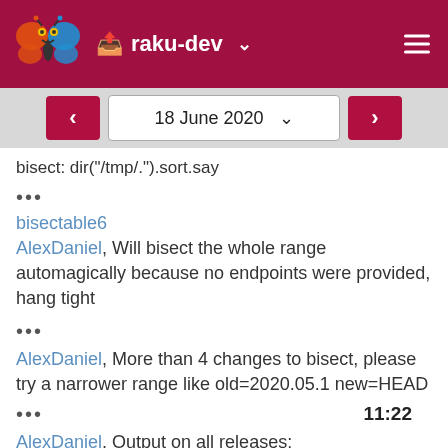raku-dev
18 June 2020
bisect: dir("/tmp/.").sort.say
•••
bisectable6
AlexDaniel, Will bisect the whole range automagically because no endpoints were provided, hang tight
•••
AlexDaniel, More than 4 changes to bisect, please try a narrower range like old=2020.05.1 new=HEAD
••• 11:22
AlexDaniel, Output on all releases:
gist.github.com/f45e409dd2630e473f...54eeca86e0